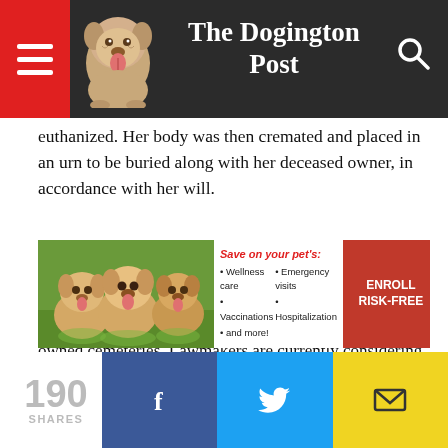The Dogington Post
euthanized. Her body was then cremated and placed in an urn to be buried along with her deceased owner, in accordance with her will.
In the state, Virginia Cemetery code 54.1-2310 makes it illegal for remains or cremains of a pet to be buried in the same casket, grave plot, or tomb as a person. However that law does not apply to private- or family-owned cemeteries. Lawmakers are currently considering legislation that would make the practice illegal across all cemeteries in the state.
[Figure (photo): Advertisement banner with three golden retriever puppies, text 'Save on your pet's: Wellness care, Emergency visits, Vaccinations, Hospitalization, and more!' and an ENROLL RISK-FREE button]
190 SHARES